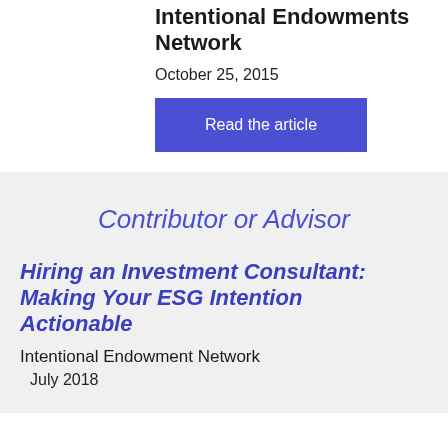Intentional Endowments Network
October 25, 2015
Read the article
Contributor or Advisor
Hiring an Investment Consultant: Making Your ESG Intention Actionable
Intentional Endowment Network
July 2018